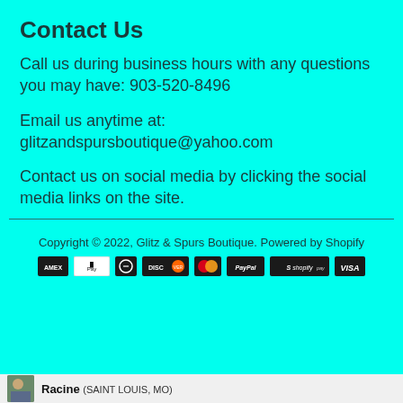Contact Us
Call us during business hours with any questions you may have: 903-520-8496
Email us anytime at:
glitzandspursboutique@yahoo.com
Contact us on social media by clicking the social media links on the site.
Copyright © 2022, Glitz & Spurs Boutique. Powered by Shopify
[Figure (other): Payment method icons: American Express, Apple Pay, Diners Club, Discover, Mastercard, PayPal, Shopify Pay, Visa]
Racine (SAINT LOUIS, MO)